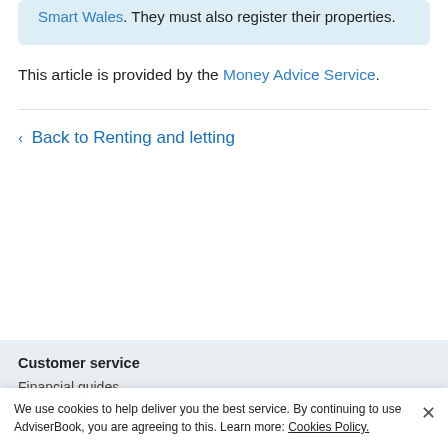Smart Wales. They must also register their properties.
This article is provided by the Money Advice Service.
‹ Back to Renting and letting
Customer service
Financial guides
Blog
Terms
We use cookies to help deliver you the best service. By continuing to use AdviserBook, you are agreeing to this. Learn more: Cookies Policy.